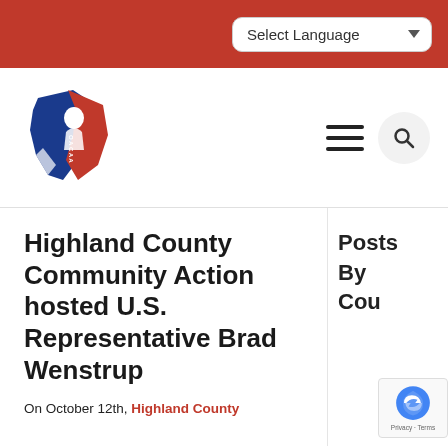Select Language
[Figure (logo): OACAA Ohio Community Action Agency logo - Ohio state shape with blue and red design and person figure]
Highland County Community Action hosted U.S. Representative Brad Wenstrup
Posts By Cou
On October 12th, Highland County